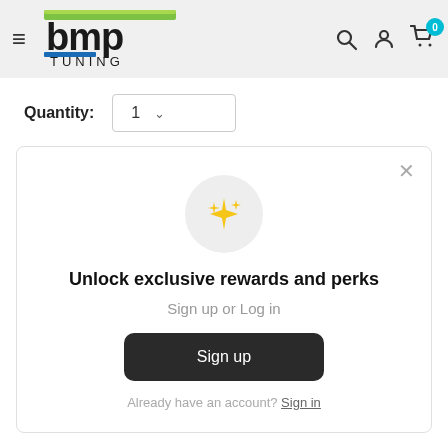[Figure (logo): BMP Tuning logo with green and black stylized text]
Quantity: 1
[Figure (screenshot): Popup modal for unlocking exclusive rewards and perks with sparkle icon, Sign up button, and sign in link]
Product Questions & Answers